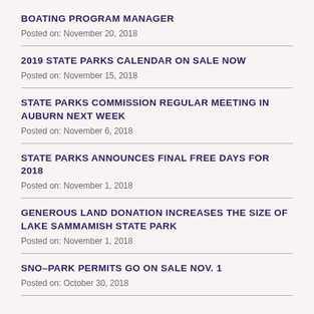BOATING PROGRAM MANAGER
Posted on: November 20, 2018
2019 STATE PARKS CALENDAR ON SALE NOW
Posted on: November 15, 2018
STATE PARKS COMMISSION REGULAR MEETING IN AUBURN NEXT WEEK
Posted on: November 6, 2018
STATE PARKS ANNOUNCES FINAL FREE DAYS FOR 2018
Posted on: November 1, 2018
GENEROUS LAND DONATION INCREASES THE SIZE OF LAKE SAMMAMISH STATE PARK
Posted on: November 1, 2018
SNO–PARK PERMITS GO ON SALE NOV. 1
Posted on: October 30, 2018